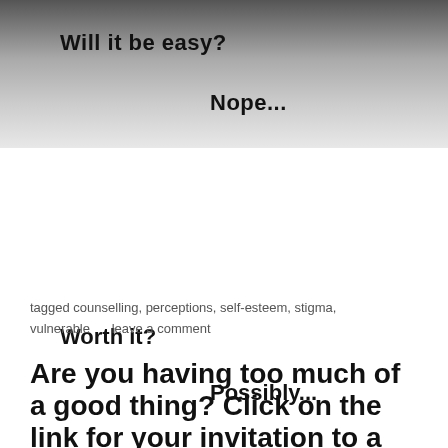[Figure (photo): Black and white photo background with overlaid bold text: 'Will it be easy?' and 'Nope...' on the photo area]
Will it be easy?
Nope...
Worth it?
Possibly...
tagged counselling, perceptions, self-esteem, stigma, vulnerable     leave a comment
Are you having too much of a good thing? Click on the link for your invitation to a free talk.
march 22, 2017, posted in uncategorized